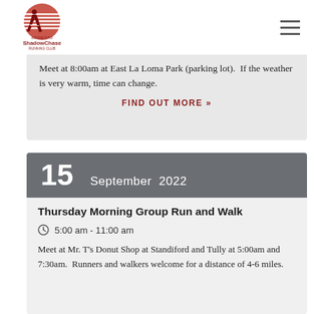[Figure (logo): Modesto ShadowChase Running Club logo with runner silhouette and horizontal stripes in dark red]
Meet at 8:00am at East La Loma Park (parking lot). If the weather is very warm, time can change.
FIND OUT MORE »
15 September 2022
Thursday Morning Group Run and Walk
5:00 am - 11:00 am
Meet at Mr. T's Donut Shop at Standiford and Tully at 5:00am and 7:30am. Runners and walkers welcome for a distance of 4-6 miles.